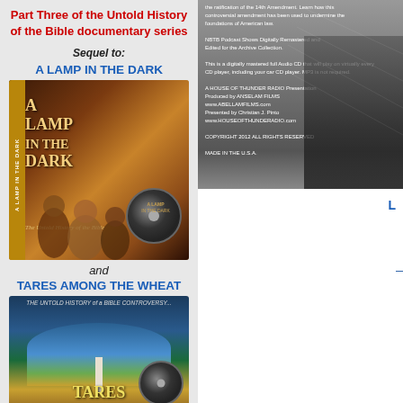Part Three of the Untold History of the Bible documentary series
Sequel to:
A LAMP IN THE DARK
[Figure (photo): DVD cover of A Lamp in the Dark: The Untold History of the Bible, showing historical figures and a disc]
and
TARES AMONG THE WHEAT
[Figure (photo): DVD cover of Tares Among the Wheat with dome building and Washington Monument]
[Figure (photo): Back of CD/DVD case with text about 14th Amendment and House of Thunder Radio production details]
L
The American Civil War and the presidency of Abraham ... the 14th Amendment. Learn how this controversial a...